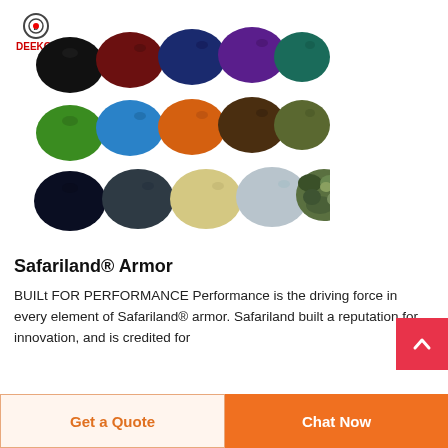[Figure (photo): Grid of colorful military berets in multiple colors: black, dark red/maroon, navy blue, purple, teal, dark green, green, light blue, orange, brown, olive, dark navy, dark gray, tan/yellow, light gray, camouflage. Deekon logo visible in top left of image.]
Safariland® Armor
BUILt FOR PERFORMANCE Performance is the driving force in every element of Safariland® armor. Safariland built a reputation for innovation, and is credited for